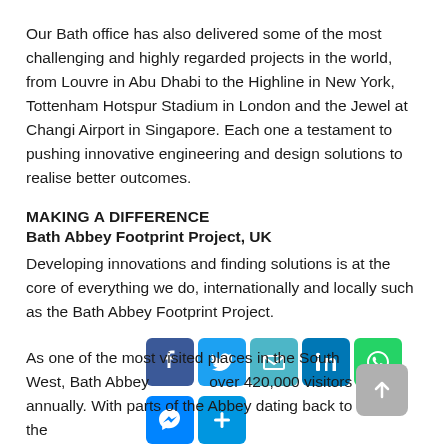Our Bath office has also delivered some of the most challenging and highly regarded projects in the world, from Louvre in Abu Dhabi to the Highline in New York, Tottenham Hotspur Stadium in London and the Jewel at Changi Airport in Singapore. Each one a testament to pushing innovative engineering and design solutions to realise better outcomes.
MAKING A DIFFERENCE
Bath Abbey Footprint Project, UK
Developing innovations and finding solutions is at the core of everything we do, internationally and locally such as the Bath Abbey Footprint Project.
[Figure (infographic): Social media sharing icons: Facebook, Twitter, Email, LinkedIn, WhatsApp in top row; Messenger and Add/Plus in bottom row. A scroll-to-top button is shown at bottom right.]
As one of the most visited places in the South West, Bath Abbey … over 420,000 visitors annually. With parts of the Abbey dating back to the